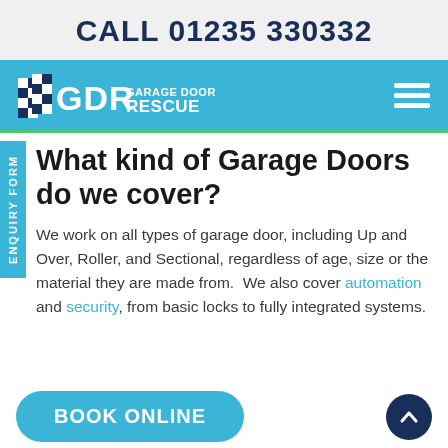CALL 01235 330332
[Figure (logo): GDR Garage Door Rescue logo with hamburger menu on blue background]
ENQUIRY FORM
What kind of Garage Doors do we cover?
We work on all types of garage door, including Up and Over, Roller, and Sectional, regardless of age, size or the material they are made from. We also cover automation and security, from basic locks to fully integrated systems.
BOOK ONLINE